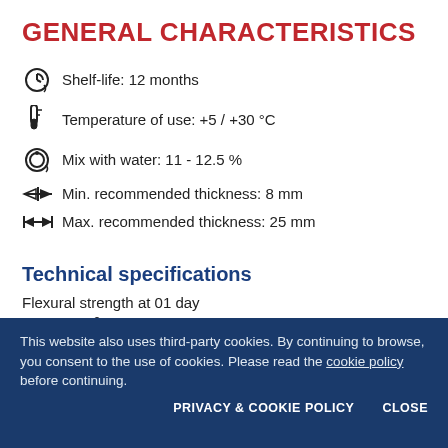GENERAL CHARACTERISTICS
Shelf-life: 12 months
Temperature of use: +5 / +30 °C
Mix with water: 11 - 12.5 %
Min. recommended thickness: 8 mm
Max. recommended thickness: 25 mm
Technical specifications
Flexural strength at 01 day
This website also uses third-party cookies. By continuing to browse, you consent to the use of cookies. Please read the cookie policy before continuing.
PRIVACY & COOKIE POLICY   CLOSE